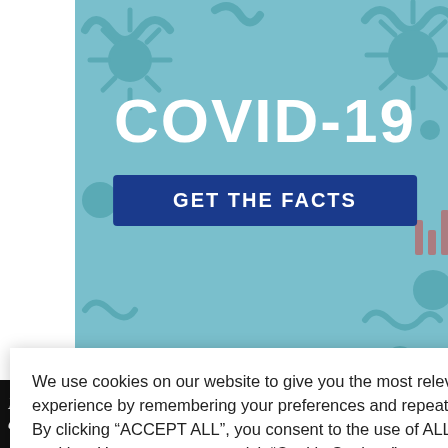[Figure (screenshot): COVID-19 information banner with teal background, virus particle decorations, large white 'COVID-19' text, and a dark blue 'GET THE FACTS' button]
We use cookies on our website to give you the most relevant experience by remembering your preferences and repeat visits. By clicking “ACCEPT ALL”, you consent to the use of ALL the cookies. However, you may visit “Cookie Settings” to provide a controlled consent.
Cookie Settings
REJECT ALL
ACCEPT ALL
vegetable oil
he rest of mixed.
901
[Figure (infographic): Alzheimer's Association advertisement: 'It's time to talk about Alzheimer's.' with LEARN MORE button and organization logo on black background]